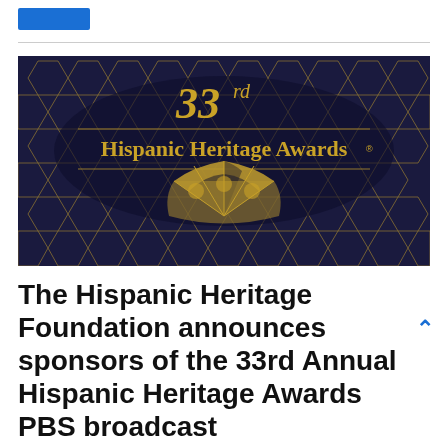[Figure (illustration): 33rd Hispanic Heritage Awards event banner on dark navy background with gold geometric hexagonal pattern and decorative fan/medallion emblem. Gold text reads '33rd' at top and 'Hispanic Heritage Awards' in center with gold border lines.]
The Hispanic Heritage Foundation announces sponsors of the 33rd Annual Hispanic Heritage Awards PBS broadcast